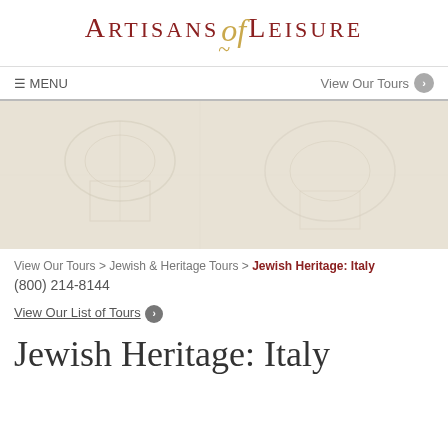[Figure (logo): Artisans of Leisure logo with decorative script 'of' and golden curl]
☰ MENU    View Our Tours ❯
[Figure (photo): Faded/watermarked hero image with light beige background and faint architectural or figurative shapes]
View Our Tours > Jewish & Heritage Tours > Jewish Heritage: Italy
(800) 214-8144
View Our List of Tours ❯
Jewish Heritage: Italy